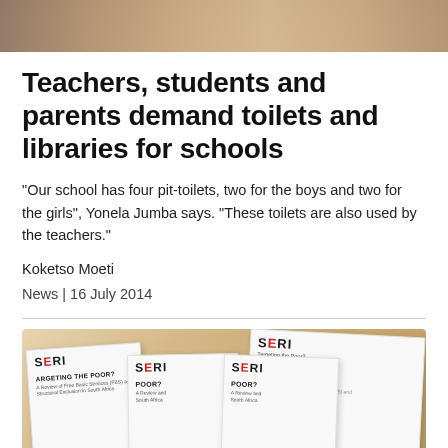[Figure (photo): Top portion of photo showing students/teachers smiling, cropped at top of page]
Teachers, students and parents demand toilets and libraries for schools
“Our school has four pit-toilets, two for the boys and two for the girls”, Yonela Jumba says. “These toilets are also used by the teachers.”
Koketso Moeti
News │ 16 July 2014
[Figure (photo): Photo of multiple SERI (Socio-Economic Rights Institute) booklets/reports titled 'Targeting the Poor?' laid on a wooden surface]